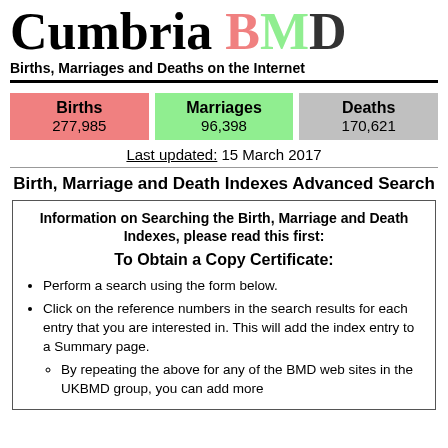Cumbria BMD
Births, Marriages and Deaths on the Internet
| Births | Marriages | Deaths |
| --- | --- | --- |
| 277,985 | 96,398 | 170,621 |
Last updated: 15 March 2017
Birth, Marriage and Death Indexes Advanced Search
Information on Searching the Birth, Marriage and Death Indexes, please read this first:
To Obtain a Copy Certificate:
Perform a search using the form below.
Click on the reference numbers in the search results for each entry that you are interested in. This will add the index entry to a Summary page.
By repeating the above for any of the BMD web sites in the UKBMD group, you can add more